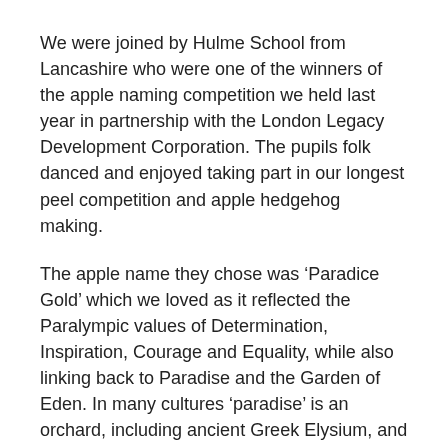We were joined by Hulme School from Lancashire who were one of the winners of the apple naming competition we held last year in partnership with the London Legacy Development Corporation. The pupils folk danced and enjoyed taking part in our longest peel competition and apple hedgehog making.
The apple name they chose was ‘Paradice Gold’ which we loved as it reflected the Paralympic values of Determination, Inspiration, Courage and Equality, while also linking back to Paradise and the Garden of Eden. In many cultures ‘paradise’ is an orchard, including ancient Greek Elysium, and Celtic Avalon (land of apples).
Baby Paradice Gold trees are being tended by Frank Matthews nursery, who developed them, and will be planted on site next year.